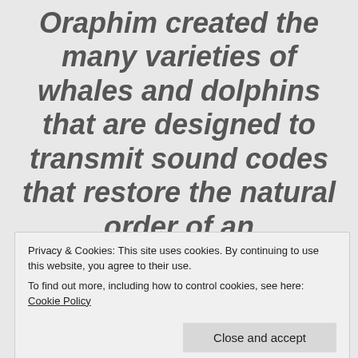Oraphim created the many varieties of whales and dolphins that are designed to transmit sound codes that restore the natural order of an architectural pattern within the core manifestation template of creation. The Amethyst Order transmits frequency patterns and sound codes to their cetacean family
Privacy & Cookies: This site uses cookies. By continuing to use this website, you agree to their use.
To find out more, including how to control cookies, see here: Cookie Policy
planetary biosphere. The hunting of